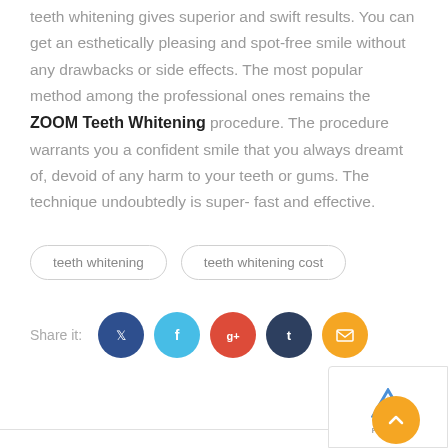teeth whitening gives superior and swift results. You can get an esthetically pleasing and spot-free smile without any drawbacks or side effects. The most popular method among the professional ones remains the ZOOM Teeth Whitening procedure. The procedure warrants you a confident smile that you always dreamt of, devoid of any harm to your teeth or gums. The technique undoubtedly is super-fast and effective.
teeth whitening
teeth whitening cost
Share it:
[Figure (infographic): Row of five social share icon buttons: Twitter (dark blue), Facebook (light blue), Google+ (red), Tumblr (dark navy), Email (yellow/orange)]